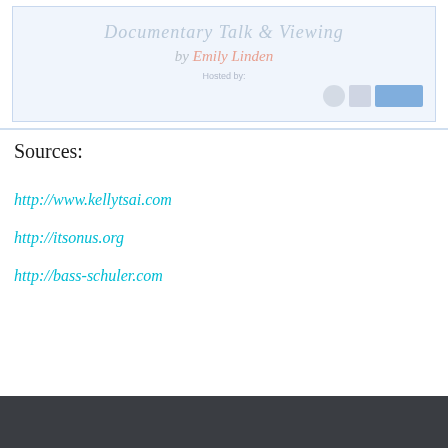[Figure (illustration): Faded decorative banner image showing cursive script text 'Documentary Talk & Viewing by Emily Linden', 'Hosted by:' label, and sponsor logos (circular emblem, two rectangular logos) on a light blue background.]
Sources:
http://www.kellytsai.com
http://itsonus.org
http://bass-schuler.com